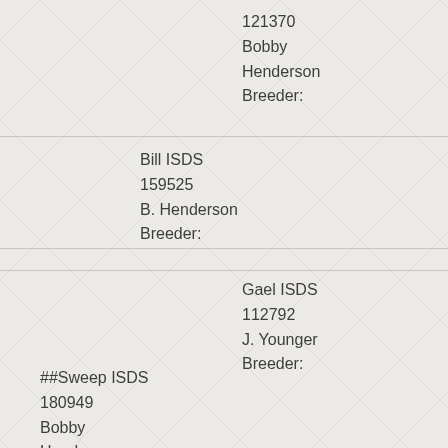121370
Bobby Henderson
Breeder:
Bill ISDS 159525
B. Henderson
Breeder:
Gael ISDS 112792
J. Younger
Breeder:
##Sweep ISDS 180949
Bobby Henderson, Scotland
Breeder: J.